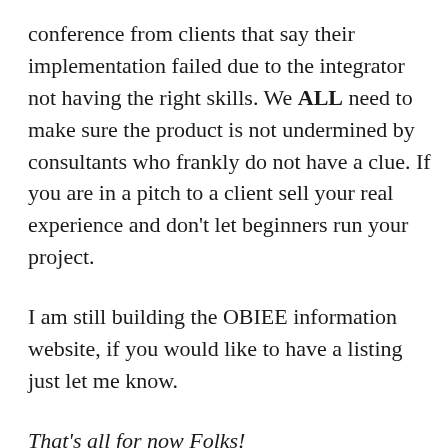conference from clients that say their implementation failed due to the integrator not having the right skills. We ALL need to make sure the product is not undermined by consultants who frankly do not have a clue. If you are in a pitch to a client sell your real experience and don't let beginners run your project.
I am still building the OBIEE information website, if you would like to have a listing just let me know.
That's all for now Folks!